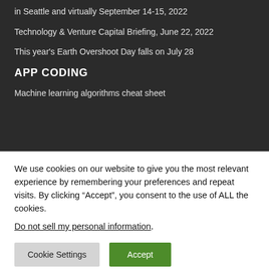in Seattle and virtually September 14-15, 2022
Technology & Venture Capital Briefing, June 22, 2022
This year's Earth Overshoot Day falls on July 28
APP CODING
Machine learning algorithms cheat sheet
We use cookies on our website to give you the most relevant experience by remembering your preferences and repeat visits. By clicking “Accept”, you consent to the use of ALL the cookies.
Do not sell my personal information.